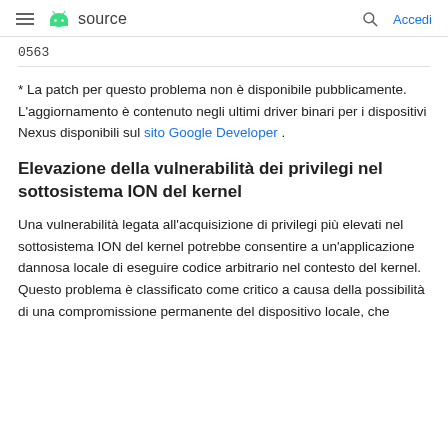≡ 🤖 source   🔍 Accedi
0563
* La patch per questo problema non è disponibile pubblicamente. L'aggiornamento è contenuto negli ultimi driver binari per i dispositivi Nexus disponibili sul sito Google Developer .
Elevazione della vulnerabilità dei privilegi nel sottosistema ION del kernel
Una vulnerabilità legata all'acquisizione di privilegi più elevati nel sottosistema ION del kernel potrebbe consentire a un'applicazione dannosa locale di eseguire codice arbitrario nel contesto del kernel. Questo problema è classificato come critico a causa della possibilità di una compromissione permanente del dispositivo locale, che